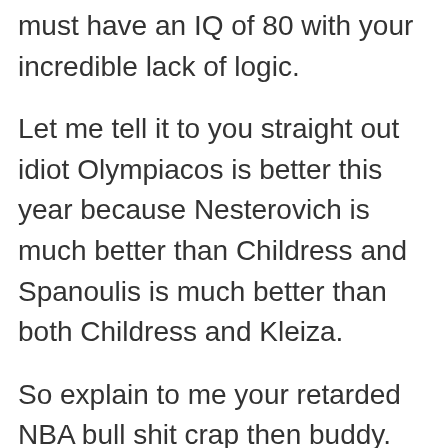must have an IQ of 80 with your incredible lack of logic.
Let me tell it to you straight out idiot Olympiacos is better this year because Nesterovich is much better than Childress and Spanoulis is much better than both Childress and Kleiza.
So explain to me your retarded NBA bull shit crap then buddy. Childress and Kleiza played for years as 6th men on NBA playoff teams and yet Spanoulis supposedly “sucks” because he did not play in Houston. Yet, Spanoulis is doing way better so far in Olympiacos than Childress and Kleiza did.